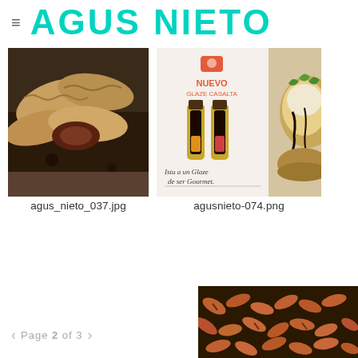AGUS NIETO
[Figure (photo): Food photography: empanadas and fried pastries on a dark slate board]
agus_nieto_037.jpg
[Figure (photo): Casalta Glaze product advertisement with two sauce bottles and script text: Istu a un Glaze de ser Gourmet. Also shows a bruschetta with cheese and greens on the right side.]
agusnieto-074.png
Page 2 of 3
[Figure (photo): Close-up food photography of cooked shrimp or prawns]